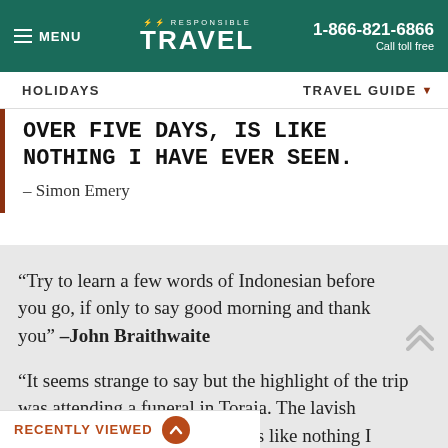MENU | RESPONSIBLE TRAVEL | 1-866-821-6866 Call toll free
HOLIDAYS   TRAVEL GUIDE
OVER FIVE DAYS, IS LIKE NOTHING I HAVE EVER SEEN.
– Simon Emery
“Try to learn a few words of Indonesian before you go, if only to say good morning and thank you” –John Braithwaite
“It seems strange to say but the highlight of the trip was attending a funeral in Toraja. The lavish ceremony, spread over five days, is like nothing I
RECENTLY VIEWED